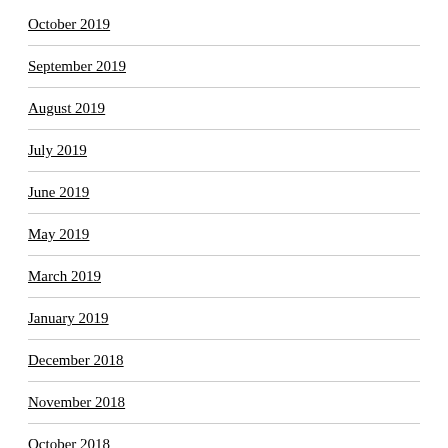October 2019
September 2019
August 2019
July 2019
June 2019
May 2019
March 2019
January 2019
December 2018
November 2018
October 2018